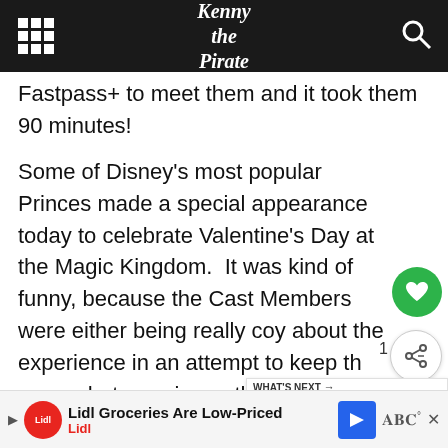Kenny the Pirate
Fastpass+ to meet them and it took them 90 minutes!
Some of Disney’s most popular Princes made a special appearance today to celebrate Valentine’s Day at the Magic Kingdom.  It was kind of funny, because the Cast Members were either being really coy about the experience in an attempt to keep the somewhat surprise or they had no knowledge who would be available.
Upon reaching the TTC, they had a bunch of red and white Valentine’s Day balloons.  Most of them were
[Figure (screenshot): What's Next widget showing Disney World to offer Extr... article with Star Wars themed thumbnail]
[Figure (screenshot): Lidl Groceries Are Low-Priced advertisement banner with Lidl logo and navigation icon]